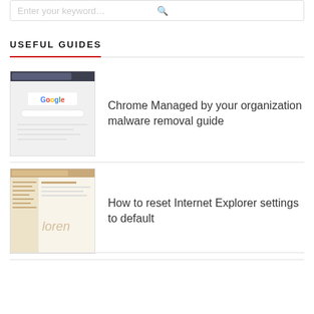Enter your keyword…
USEFUL GUIDES
[Figure (screenshot): Chrome browser screenshot thumbnail]
Chrome Managed by your organization malware removal guide
[Figure (screenshot): Internet Explorer settings screenshot thumbnail]
How to reset Internet Explorer settings to default